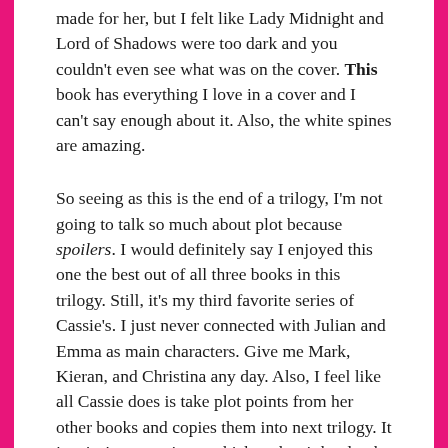made for her, but I felt like Lady Midnight and Lord of Shadows were too dark and you couldn't even see what was on the cover. This book has everything I love in a cover and I can't say enough about it. Also, the white spines are amazing.
So seeing as this is the end of a trilogy, I'm not going to talk so much about plot because spoilers. I would definitely say I enjoyed this one the best out of all three books in this trilogy. Still, it's my third favorite series of Cassie's. I just never connected with Julian and Emma as main characters. Give me Mark, Kieran, and Christina any day. Also, I feel like all Cassie does is take plot points from her other books and copies them into next trilogy. It just isn't very unique, which makes it hard to be invested at times.
However, I am SO EXCITED for more after that ending. Whereas her trilogy beginning in March doesn't pick up